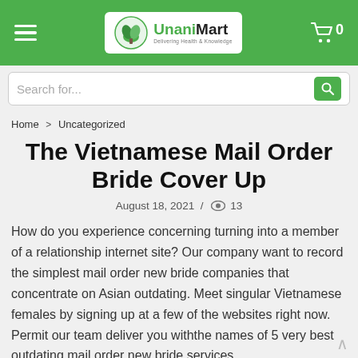UnaniMart — Delivering Health & Knowledge
Search for...
Home > Uncategorized
The Vietnamese Mail Order Bride Cover Up
August 18, 2021 / 👁 13
How do you experience concerning turning into a member of a relationship internet site? Our company want to record the simplest mail order new bride companies that concentrate on Asian outdating. Meet singular Vietnamese females by signing up at a few of the websites right now. Permit our team deliver you withthe names of 5 very best outdating mail order new bride services.